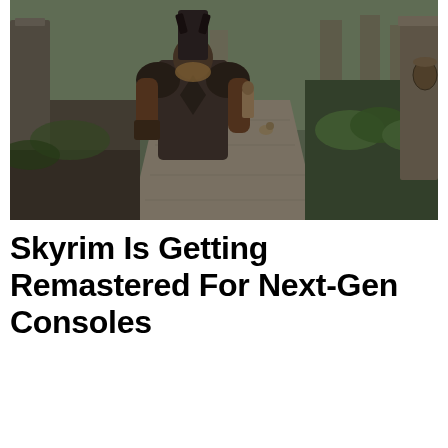[Figure (screenshot): Screenshot from the video game Skyrim showing a warrior character in dark armor viewed from behind, walking along a stone-paved path through ancient ruins with columns, ferns and greenery, with another character visible in the distance.]
Skyrim Is Getting Remastered For Next-Gen Consoles